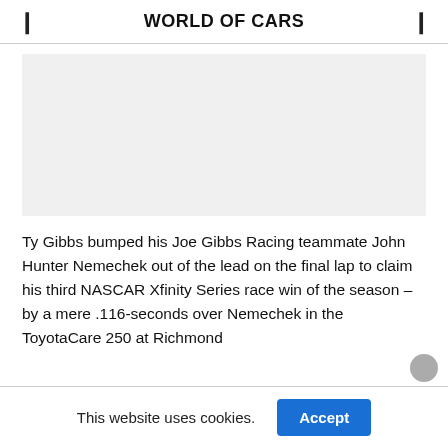WORLD OF CARS
[Figure (photo): Light gray placeholder image area for an article photo]
Ty Gibbs bumped his Joe Gibbs Racing teammate John Hunter Nemechek out of the lead on the final lap to claim his third NASCAR Xfinity Series race win of the season – by a mere .116-seconds over Nemechek in the ToyotaCare 250 at Richmond
This website uses cookies.